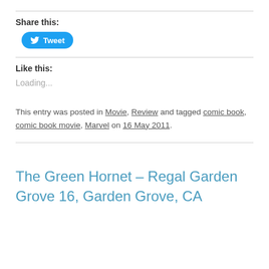Share this:
[Figure (other): Tweet button with Twitter bird icon]
Like this:
Loading...
This entry was posted in Movie, Review and tagged comic book, comic book movie, Marvel on 16 May 2011.
The Green Hornet – Regal Garden Grove 16, Garden Grove, CA